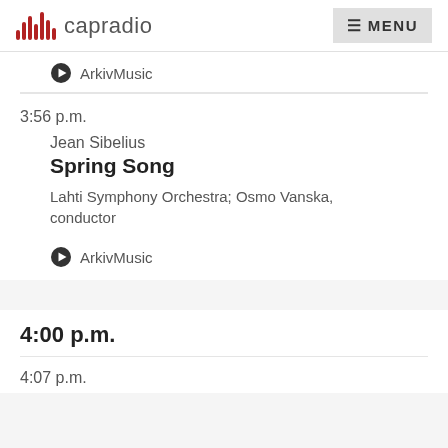capradio MENU
ArkivMusic
3:56 p.m.
Jean Sibelius
Spring Song
Lahti Symphony Orchestra; Osmo Vanska, conductor
ArkivMusic
4:00 p.m.
4:07 p.m.